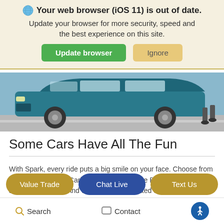🌐 Your web browser (iOS 11) is out of date. Update your browser for more security, speed and the best experience on this site. [Update browser] [Ignore]
[Figure (photo): Partial view of a teal/blue SUV driving on a road, cropped to show front portion with wheel and lower body]
Some Cars Have All The Fun
With Spark, every ride puts a big smile on your face. Choose from vibrant shades like Caribbean Blue^, Orange Burst^, Raspberry and Passion Fruit. And with an EPA-estimated 30 MPG city/38 MPG highway⁶, this ride is fun.